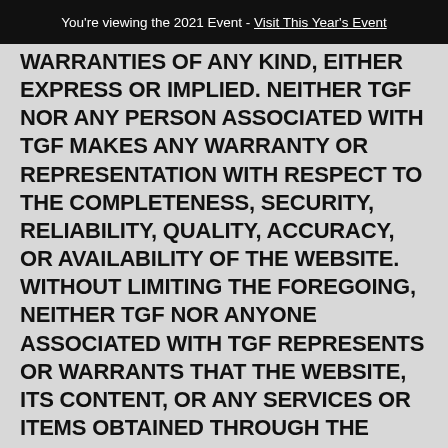You're viewing the 2021 Event - Visit This Year's Event
WARRANTIES OF ANY KIND, EITHER EXPRESS OR IMPLIED. NEITHER TGF NOR ANY PERSON ASSOCIATED WITH TGF MAKES ANY WARRANTY OR REPRESENTATION WITH RESPECT TO THE COMPLETENESS, SECURITY, RELIABILITY, QUALITY, ACCURACY, OR AVAILABILITY OF THE WEBSITE. WITHOUT LIMITING THE FOREGOING, NEITHER TGF NOR ANYONE ASSOCIATED WITH TGF REPRESENTS OR WARRANTS THAT THE WEBSITE, ITS CONTENT, OR ANY SERVICES OR ITEMS OBTAINED THROUGH THE WEBSITE WILL BE ACCURATE, RELIABLE, ERROR-FREE, OR UNINTERRUPTED, THAT DEFECTS WILL BE CORRECTED, THAT OUR SITE OR THE SERVER THAT MAKES IT AVAILABLE ARE FREE OF VIRUSES OR OTHER HARMFUL COMPONENTS, OR THAT THE WEBSITE OR ANY SERVICES OR ITEMS